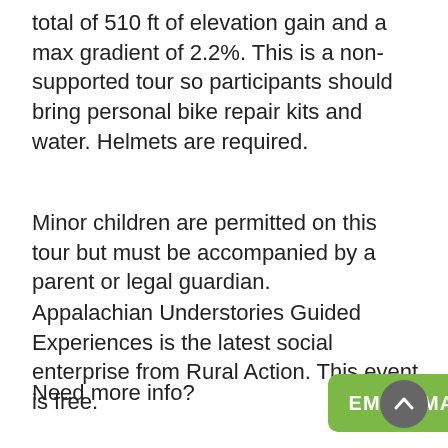total of 510 ft of elevation gain and a max gradient of 2.2%. This is a non-supported tour so participants should bring personal bike repair kits and water. Helmets are required.
Minor children are permitted on this tour but must be accompanied by a parent or legal guardian.
Appalachian Understories Guided Experiences is the latest social enterprise from Rural Action. This event is free.
Need more info?
EMAIL MADISON